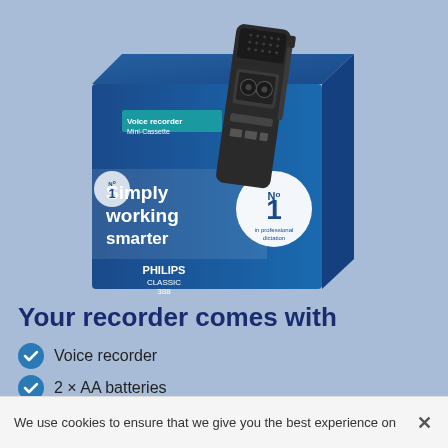[Figure (photo): Philips Classic 388 voice recorder mini-cassette product box with device. Box shows 'Simply working smarter' and 'No.1' branding on a blue background.]
Your recorder comes with
Voice recorder
2 × AA batteries
Wrist strap
We use cookies to ensure that we give you the best experience on